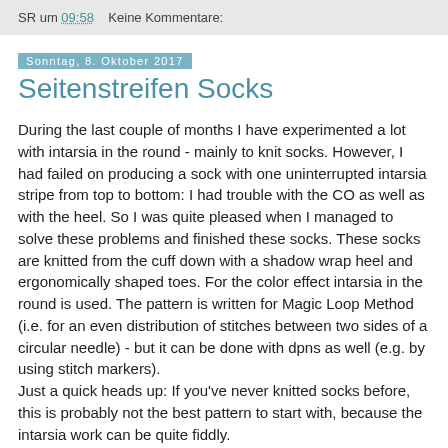SR um 09:58   Keine Kommentare:
Sonntag, 8. Oktober 2017
Seitenstreifen Socks
During the last couple of months I have experimented a lot with intarsia in the round - mainly to knit socks. However, I had failed on producing a sock with one uninterrupted intarsia stripe from top to bottom: I had trouble with the CO as well as with the heel. So I was quite pleased when I managed to solve these problems and finished these socks. These socks are knitted from the cuff down with a shadow wrap heel and ergonomically shaped toes. For the color effect intarsia in the round is used. The pattern is written for Magic Loop Method (i.e. for an even distribution of stitches between two sides of a circular needle) - but it can be done with dpns as well (e.g. by using stitch markers).
Just a quick heads up: If you've never knitted socks before, this is probably not the best pattern to start with, because the intarsia work can be quite fiddly.